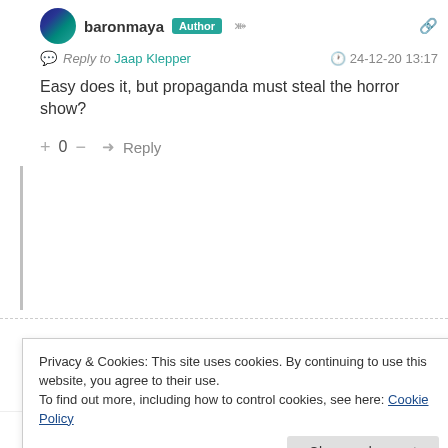baronmaya Author
Reply to Jaap Klepper  24-12-20 13:17
Easy does it, but propaganda must steal the horror show?
+ 0 — Reply
Privacy & Cookies: This site uses cookies. By continuing to use this website, you agree to their use.
To find out more, including how to control cookies, see here: Cookie Policy
Close and accept
15,121  60  3,910,000